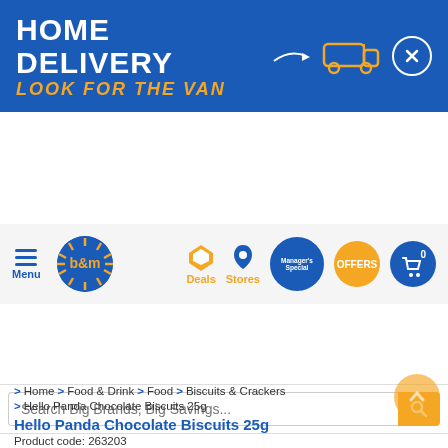[Figure (screenshot): B&M home delivery banner with white text 'HOME DELIVERY' and orange text 'LOOK FOR THE VAN', white arrow, orange van outline, and X button on blue background]
[Figure (screenshot): B&M website navigation bar with hamburger menu, B&M logo, Deals, Stores, Manager's Special, OFFERS, and cart icons]
[Figure (screenshot): Search bar with placeholder 'Search Big Brands, Big Savings...' and orange search button]
[Figure (screenshot): Blue banner: HOME DELIVERY AVAILABLE - Look for the orange van and buy online]
BROWSE CATEGORIES
> Home > Food & Drink > Food > Biscuits & Crackers
> Hello Panda Chocolate Biscuits 25g
Hello Panda Chocolate Biscuits 25g
Product code: 263203